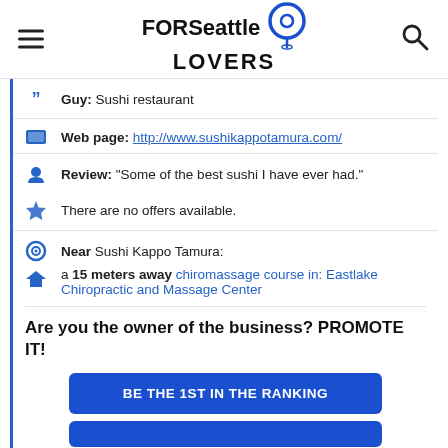FORSeattle LOVERS
Guy: Sushi restaurant
Web page: http://www.sushikappotamura.com/
Review: "Some of the best sushi I have ever had."
There are no offers available.
Near Sushi Kappo Tamura:
a 15 meters away chiromassage course in: Eastlake Chiropractic and Massage Center
Are you the owner of the business? PROMOTE IT!
BE THE 1ST IN THE RANKING